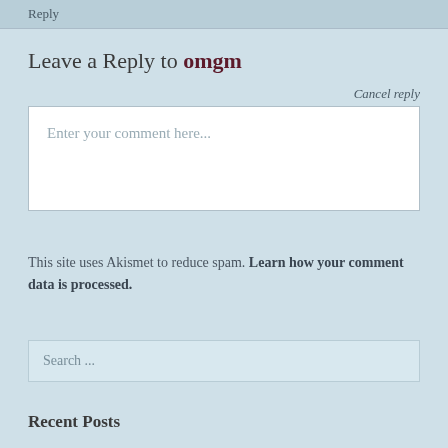Reply
Leave a Reply to omgm
Cancel reply
Enter your comment here...
This site uses Akismet to reduce spam. Learn how your comment data is processed.
Search ...
Recent Posts